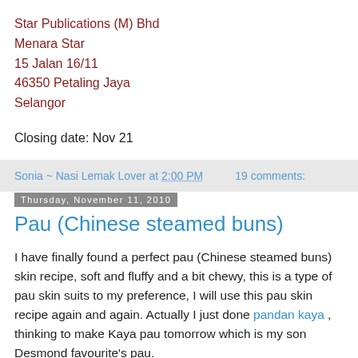Star Publications (M) Bhd
Menara Star
15 Jalan 16/11
46350 Petaling Jaya
Selangor
Closing date: Nov 21
Sonia ~ Nasi Lemak Lover at 2:00 PM    19 comments:
Thursday, November 11, 2010
Pau (Chinese steamed buns)
I have finally found a perfect pau (Chinese steamed buns) skin recipe, soft and fluffy and a bit chewy, this is a type of pau skin suits to my preference, I will use this pau skin recipe again and again. Actually I just done pandan kaya , thinking to make Kaya pau tomorrow which is my son Desmond favourite's pau.